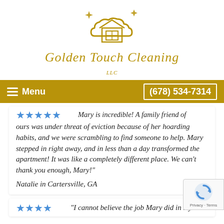[Figure (logo): Golden Touch Cleaning LLC logo — a gold house/cloud outline with sparkle stars above, and the company name in gold italic script below]
Menu   (678) 534-7314
"Mary is incredible! A family friend of ours was under threat of eviction because of her hoarding habits, and we were scrambling to find someone to help. Mary stepped in right away, and in less than a day transformed the apartment! It was like a completely different place. We can't thank you enough, Mary!"
Natalie in Cartersville, GA
"I cannot believe the job Mary did in my